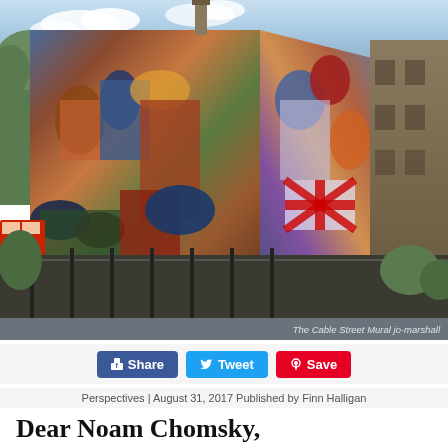[Figure (photo): The Cable Street Mural on the side of a building in London, depicting a colorful painted scene of the Battle of Cable Street, with surrounding trees and street visible.]
The Cable Street Mural jo-marshall
[Figure (infographic): Social sharing buttons: Share (Facebook, blue), Tweet (Twitter, light blue), Save (Pinterest, red)]
Perspectives | August 31, 2017 Published by Finn Halligan
Dear Noam Chomsky,